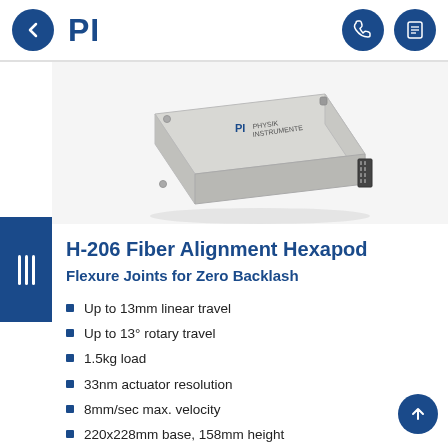[Figure (logo): PI (Physik Instrumente) company logo — bold dark blue letters 'PI' with a back-navigation circle button on the left and two icon buttons (phone/contact, list) on the right.]
[Figure (photo): Photo of PI H-206 Fiber Alignment Hexapod — a compact light-grey precision motion device with a flat body, connector strip on the right side, and the PI logo on top.]
H-206 Fiber Alignment Hexapod
Flexure Joints for Zero Backlash
Up to 13mm linear travel
Up to 13° rotary travel
1.5kg load
33nm actuator resolution
8mm/sec max. velocity
220x228mm base, 158mm height